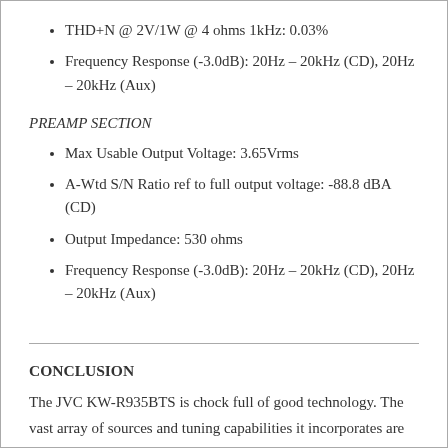THD+N @ 2V/1W @ 4 ohms 1kHz: 0.03%
Frequency Response (-3.0dB): 20Hz – 20kHz (CD), 20Hz – 20kHz (Aux)
PREAMP SECTION
Max Usable Output Voltage: 3.65Vrms
A-Wtd S/N Ratio ref to full output voltage: -88.8 dBA (CD)
Output Impedance: 530 ohms
Frequency Response (-3.0dB): 20Hz – 20kHz (CD), 20Hz – 20kHz (Aux)
CONCLUSION
The JVC KW-R935BTS is chock full of good technology. The vast array of sources and tuning capabilities it incorporates are